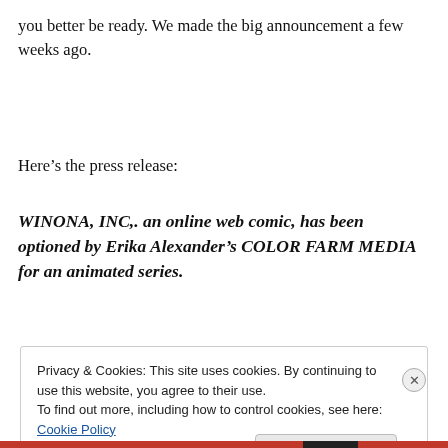you better be ready. We made the big announcement a few weeks ago.
Here’s the press release:
WINONA, INC,. an online web comic, has been optioned by Erika Alexander’s COLOR FARM MEDIA for an animated series.
Privacy & Cookies: This site uses cookies. By continuing to use this website, you agree to their use.
To find out more, including how to control cookies, see here: Cookie Policy